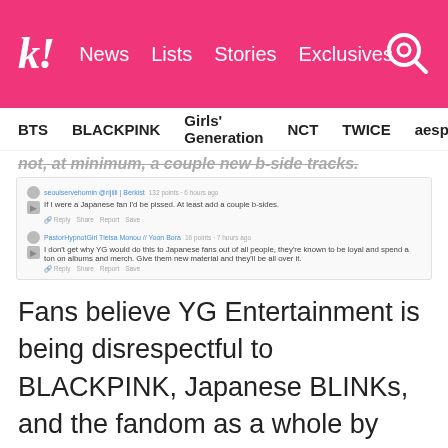kl! News Lists Stories Exclusives
BTS BLACKPINK Girls' Generation NCT TWICE aespa
...not, at minimum, a couple new b-side tracks.
[Figure (screenshot): Screenshot of two fan comments discussing YG Entertainment's decision to repackage BLACKPINK content for Japanese fans. First comment: 'If I were a Japanese fan I'd be pissed. At least add a couple b-sides.' Second comment: 'I don't get why YG would do this to Japanese fans out of all people, they're known to be loyal and spend a ton on albums and merch. Give them new material and they'll be all over it.']
Fans believe YG Entertainment is being disrespectful to BLACKPINK, Japanese BLINKs, and the fandom as a whole by continuing the repackage the same content. Some even see it as a cash grab.